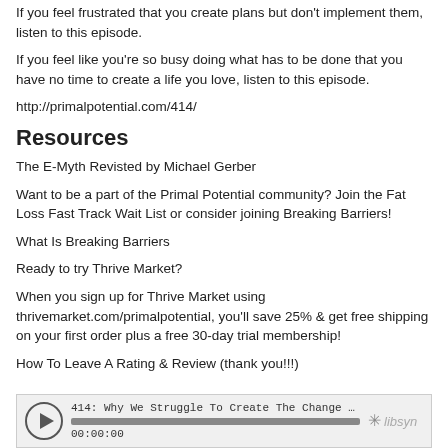If you feel frustrated that you create plans but don't implement them, listen to this episode.
If you feel like you're so busy doing what has to be done that you have no time to create a life you love, listen to this episode.
http://primalpotential.com/414/
Resources
The E-Myth Revisted by Michael Gerber
Want to be a part of the Primal Potential community? Join the Fat Loss Fast Track Wait List or consider joining Breaking Barriers!
What Is Breaking Barriers
Ready to try Thrive Market?
When you sign up for Thrive Market using thrivemarket.com/primalpotential, you'll save 25% & get free shipping on your first order plus a free 30-day trial membership!
How To Leave A Rating & Review (thank you!!!)
[Figure (other): Audio player embed showing episode '414: Why We Struggle To Create The Change We Want: Pe...' with play button, progress bar, timestamp 00:00:00, and Libsyn logo]